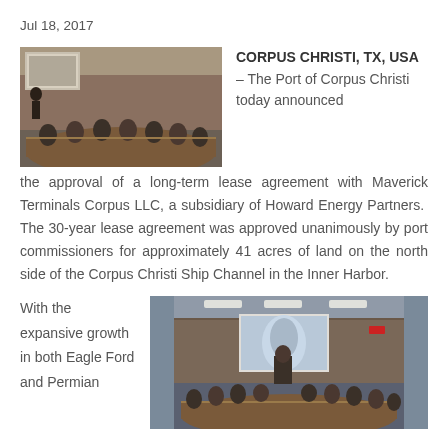Jul 18, 2017
[Figure (photo): A conference room scene with many people seated at a curved table, appearing to be a port commission meeting.]
CORPUS CHRISTI, TX, USA – The Port of Corpus Christi today announced the approval of a long-term lease agreement with Maverick Terminals Corpus LLC, a subsidiary of Howard Energy Partners. The 30-year lease agreement was approved unanimously by port commissioners for approximately 41 acres of land on the north side of the Corpus Christi Ship Channel in the Inner Harbor.
With the expansive growth in both Eagle Ford and Permian
[Figure (photo): A conference or meeting room with people seated at a curved table and a presenter at a podium with a projection screen showing a map.]